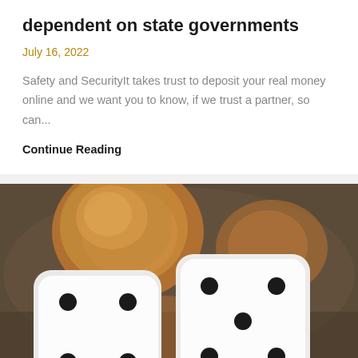dependent on state governments
July 16, 2022
Safety and SecurityIt takes trust to deposit your real money online and we want you to know, if we trust a partner, so can...
Continue Reading
[Figure (photo): Close-up photo of two white dice with black dots showing fours and fives, resting against copper coins on a wooden surface]